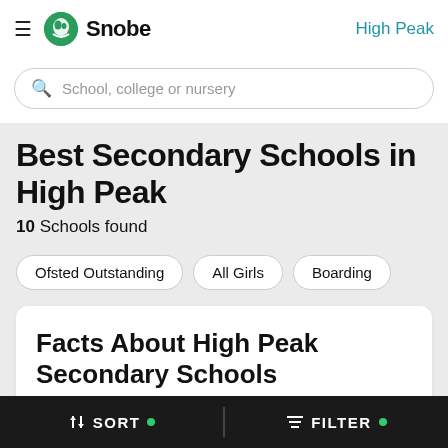Snobe | High Peak
School, college or nursery
Best Secondary Schools in High Peak
10 Schools found
Ofsted Outstanding
All Girls
Boarding
Facts About High Peak Secondary Schools
SORT   FILTER